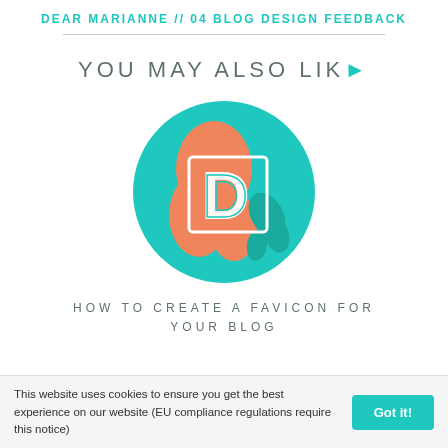DEAR MARIANNE // 04 BLOG DESIGN FEEDBACK
YOU MAY ALSO LIKE▶
[Figure (logo): Circular teal logo with large white letter D and orange decorative shapes/leaves, representing a blog favicon example.]
HOW TO CREATE A FAVICON FOR YOUR BLOG
This website uses cookies to ensure you get the best experience on our website (EU compliance regulations require this notice)